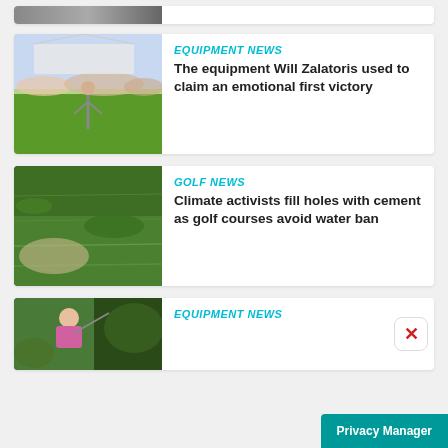[Figure (photo): Partially visible top card with a golf-related photo, cropped]
[Figure (photo): Golfer celebrating on putting green with crowd in background]
EQUIPMENT NEWS
The equipment Will Zalatoris used to claim an emotional first victory
[Figure (photo): Close-up of golf course grass, green turf]
GOLF NEWS
Climate activists fill holes with cement as golf courses avoid water ban
[Figure (photo): Golfer in pink shirt swinging club, partially visible]
EQUIPMENT NEWS